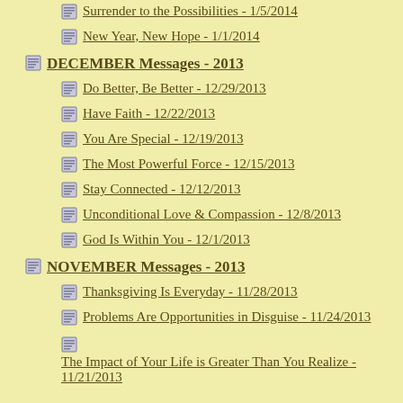Surrender to the Possibilities - 1/5/2014
New Year, New Hope - 1/1/2014
DECEMBER Messages - 2013
Do Better, Be Better - 12/29/2013
Have Faith - 12/22/2013
You Are Special - 12/19/2013
The Most Powerful Force - 12/15/2013
Stay Connected - 12/12/2013
Unconditional Love & Compassion - 12/8/2013
God Is Within You - 12/1/2013
NOVEMBER Messages - 2013
Thanksgiving Is Everyday - 11/28/2013
Problems Are Opportunities in Disguise - 11/24/2013
The Impact of Your Life is Greater Than You Realize - 11/21/2013